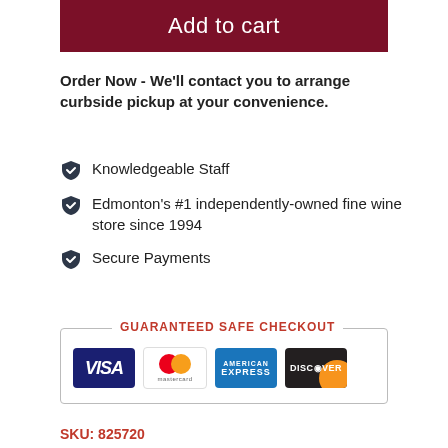Add to cart
Order Now - We'll contact you to arrange curbside pickup at your convenience.
Knowledgeable Staff
Edmonton's #1 independently-owned fine wine store since 1994
Secure Payments
GUARANTEED SAFE CHECKOUT
[Figure (other): Payment card logos: Visa, Mastercard, American Express, Discover]
SKU: 825720